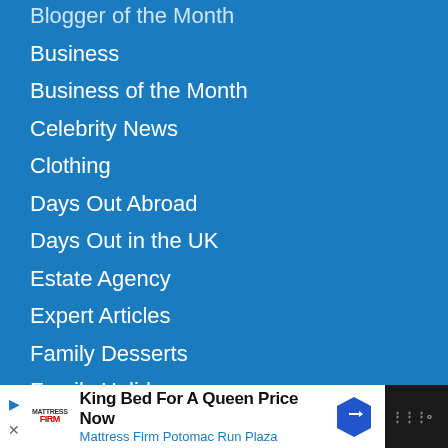Blogger of the Month
Business
Business of the Month
Celebrity News
Clothing
Days Out Abroad
Days Out in the UK
Estate Agency
Expert Articles
Family Desserts
Family Holidays
Family Law
Family Meals
Family Protection & Legal
Favourite Brands
Financial Advice
Fussy Toddler
[Figure (screenshot): Advertisement banner: Mattress Firm ad - King Bed For A Queen Price Now, Mattress Firm Potomac Run Plaza, with blue diamond arrow icon]